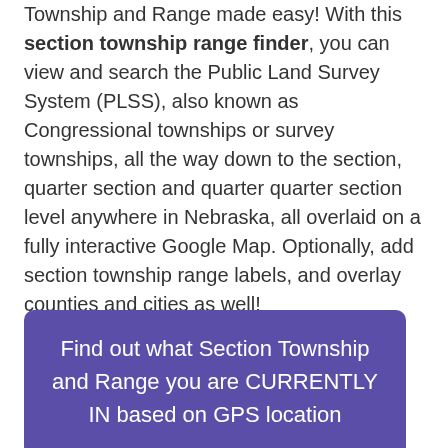Township and Range made easy! With this section township range finder, you can view and search the Public Land Survey System (PLSS), also known as Congressional townships or survey townships, all the way down to the section, quarter section and quarter quarter section level anywhere in Nebraska, all overlaid on a fully interactive Google Map. Optionally, add section township range labels, and overlay counties and cities as well!
Find out what Section Township and Range you are CURRENTLY IN based on GPS location